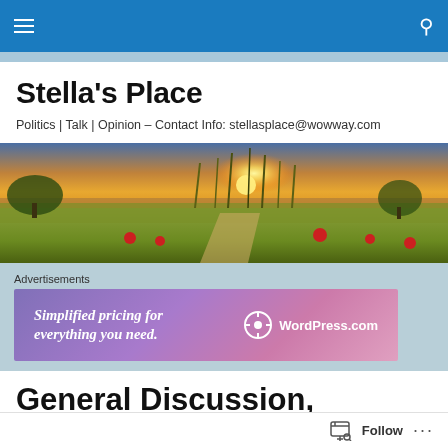Navigation bar with hamburger menu and search icon
Stella's Place
Politics | Talk | Opinion – Contact Info: stellasplace@wowway.com
[Figure (photo): Landscape sunset photo with golden light over a field of green grass and red wildflowers, dramatic sky with sun near horizon]
Advertisements
[Figure (screenshot): WordPress.com advertisement banner with purple-pink gradient background. Text reads: Simplified pricing for everything you need. WordPress.com logo on right.]
General Discussion, Tuesday, March 6, 2018
Follow